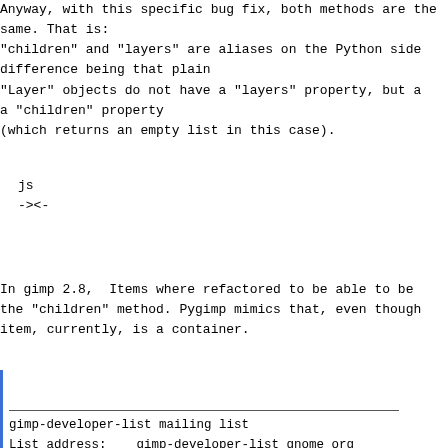Anyway, with this specific bug fix, both methods are the same. That is:
"children" and "layers" are aliases on the Python side difference being that plain
"Layer" objects do not have a "layers" property, but a a "children" property
(which returns an empty list in this case).
js
-><-
In gimp 2.8,  Items where refactored to be able to be the "children" method. Pygimp mimics that, even though item, currently, is a container.
gimp-developer-list mailing list
List address:    gimp-developer-list gnome org
List membership: https://mail.gnome.org/mailman/list
List archives:   https://mail.gnome.org/archives/gi